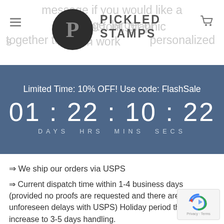PICKLED STAMPS
Limited Time: 10% OFF! Use code: FlashSale
01 : 22 : 10 : 22
DAYS   HRS   MINS   SECS
⇒ We ship our orders via USPS
⇒ Current dispatch time within 1-4 business days (provided no proofs are requested and there are no unforeseen delays with USPS) Holiday period this will increase to 3-5 days handling.
★ OUR PRODUCTS ARE MADE IN THE USA★
♦ IN-HOUSE PRODUCTION!